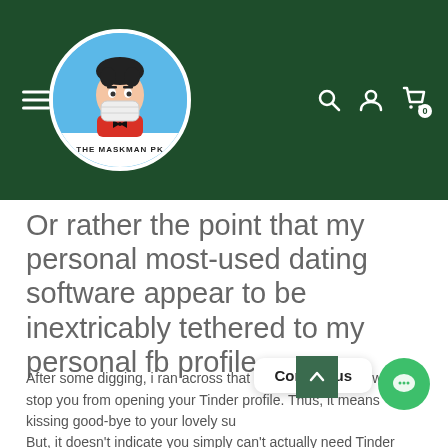THE MASKMAN PK — site header with logo, hamburger menu, search, user, and cart icons
Or rather the point that my personal most-used dating software appear to be inextricably tethered to my personal fb profile
After some digging, i ran across that deleting Facebook will also stop you from opening your Tinder profile. Thus, it means kissing good-bye to your lovely su
But, it doesn't indicate you simply can't actually need Tinder